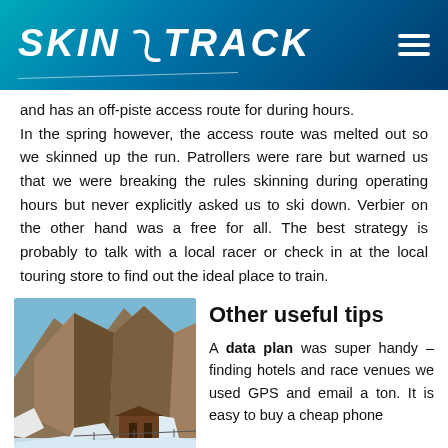SKIN TRACK
and has an off-piste access route for during hours. In the spring however, the access route was melted out so we skinned up the run. Patrollers were rare but warned us that we were breaking the rules skinning during operating hours but never explicitly asked us to ski down. Verbier on the other hand was a free for all. The best strategy is probably to talk with a local racer or check in at the local touring store to find out the ideal place to train.
[Figure (photo): Mountain cliff with a building/structure visible, snow on the ground, blue sky]
Other useful tips
A data plan was super handy – finding hotels and race venues we used GPS and email a ton. It is easy to buy a cheap phone